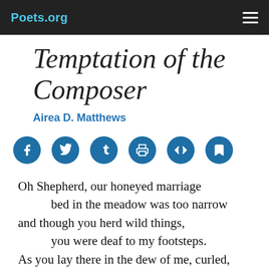Poets.org
Temptation of the Composer
Airea D. Matthews
[Figure (infographic): Row of 6 circular blue social/action icon buttons: Facebook, Twitter, Tumblr, Print, Embed/code, Save/bookmark]
Oh Shepherd, our honeyed marriage
    bed in the meadow was too narrow
and though you herd wild things,
    you were deaf to my footsteps.
As you lay there in the dew of me, curled,
    satiated, I tiptoed backwards